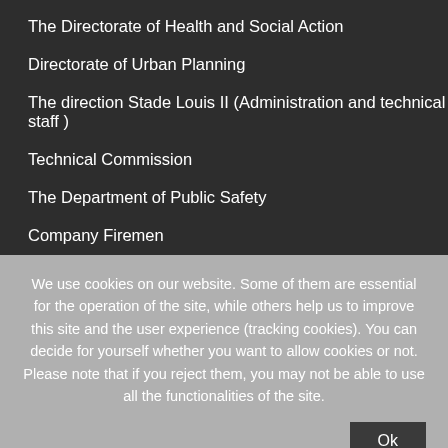The Directorate of Health and Social Action
Directorate of Urban Planning
The direction Stade Louis II (Administration and technical staff )
Technical Commission
The Department of Public Safety
Company Firemen
Centre Hospitalier Princesse Grace
The Monegasque Red Cross
The Société des Bains de Mer
We use cookies on our website. Some of them are essential for the operation of the site, while others help us to improve this site and the user experience (tracking cookies). You can decide for yourself whether you want to allow cookies or not. Please note that if you reject them, you may not be able to use all the functionalities of the site.